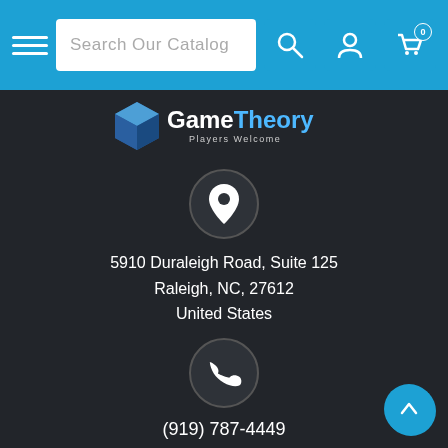Search Our Catalog
[Figure (logo): Game Theory Players Welcome logo with 3D cube icon]
[Figure (other): Location pin icon inside a circle]
5910 Duraleigh Road, Suite 125
Raleigh, NC, 27612
United States
[Figure (other): Phone handset icon inside a circle]
(919) 787-4449
[Figure (other): Envelope/mail icon inside a circle]
gametheorystaff@gmail.com
Store Hours